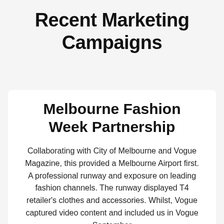Recent Marketing Campaigns
Melbourne Fashion Week Partnership
Collaborating with City of Melbourne and Vogue Magazine, this provided a Melbourne Airport first. A professional runway and exposure on leading fashion channels. The runway displayed T4 retailer’s clothes and accessories. Whilst, Vogue captured video content and included us in Vogue September